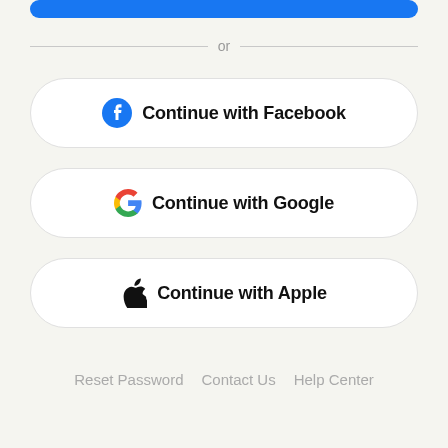[Figure (screenshot): Blue rounded button bar at top (partially visible)]
or
[Figure (other): Continue with Facebook button with Facebook logo]
[Figure (other): Continue with Google button with Google G logo]
[Figure (other): Continue with Apple button with Apple logo]
Reset Password   Contact Us   Help Center